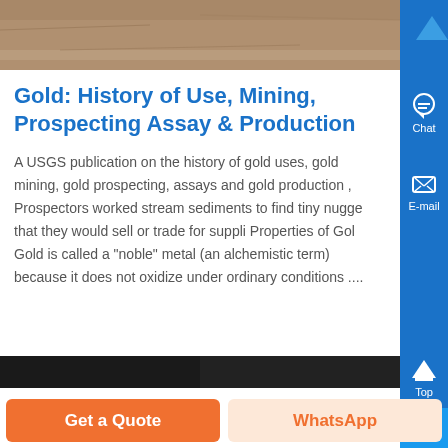[Figure (photo): Top portion of a stone or rock texture image, cropped at top of page]
Gold: History of Use, Mining, Prospecting Assay & Production
A USGS publication on the history of gold uses, gold mining, gold prospecting, assays and gold production , Prospectors worked stream sediments to find tiny nugge that they would sell or trade for suppli Properties of Gol Gold is called a "noble" metal (an alchemistic term) because it does not oxidize under ordinary conditions ....
[Figure (photo): Bottom portion showing a dark image, partially visible]
[Figure (screenshot): Right sidebar with blue background containing Chat, E-mail, Top arrow, and close (X) icons]